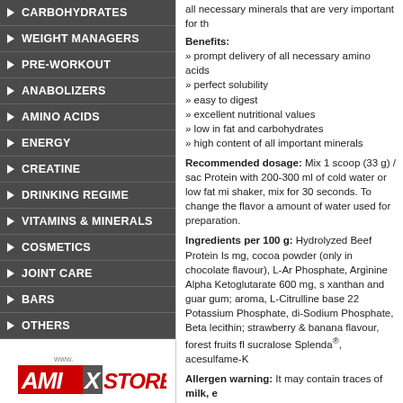CARBOHYDRATES
WEIGHT MANAGERS
PRE-WORKOUT
ANABOLIZERS
AMINO ACIDS
ENERGY
CREATINE
DRINKING REGIME
VITAMINS & MINERALS
COSMETICS
JOINT CARE
BARS
OTHERS
[Figure (logo): AmixStore logo with red and grey text]
all necessary minerals that are very important for th...
Benefits: prompt delivery of all necessary amino acids; perfect solubility; easy to digest; excellent nutritional values; low in fat and carbohydrates; high content of all important minerals
Recommended dosage: Mix 1 scoop (33 g) / sac... Protein with 200-300 ml of cold water or low fat mi... shaker, mix for 30 seconds. To change the flavor a... amount of water used for preparation.
Ingredients per 100 g: Hydrolyzed Beef Protein Is... mg, cocoa powder (only in chocolate flavour), L-Ar... Phosphate, Arginine Alpha Ketoglutarate 600 mg, s... xanthan and guar gum; aroma, L-Citrulline base 22... Potassium Phosphate, di-Sodium Phosphate, Beta... lecithin; strawberry & banana flavour, forest fruits fl... sucralose Splenda®, acesulfame-K
Allergen warning: It may contain traces of milk, e... and peanuts.
Warning: Do not use this product if you are pregna... designed for children. Keep away from children. Do... dosage! Store at a temperature not exceeding 25°... sunlight. The product should not be used as a subs... producer is not liable for any damage caused by in...